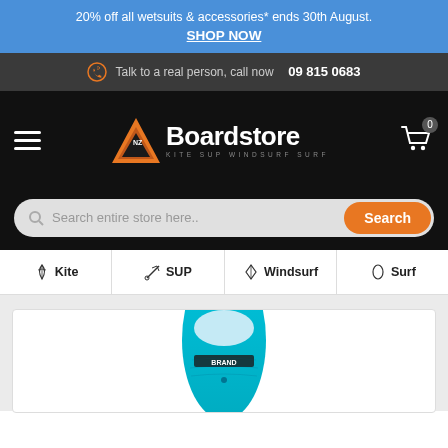20% off all wetsuits & accessories* ends 30th August. SHOP NOW
Talk to a real person, call now  09 815 0683
[Figure (logo): NZ Boardstore logo with orange triangle and text: KITE SUP WINDSURF SURF]
Search entire store here..
Kite  SUP  Windsurf  Surf
[Figure (photo): Blue SUP/surfboard nose pointing upward on white background inside product card]